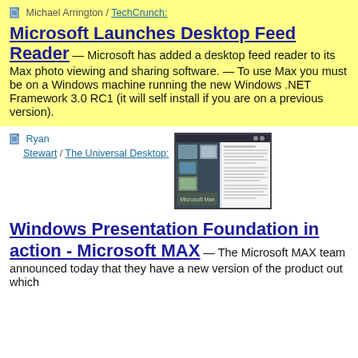Michael Arrington / TechCrunch:
Microsoft Launches Desktop Feed Reader
— Microsoft has added a desktop feed reader to its Max photo viewing and sharing software. — To use Max you must be on a Windows machine running the new Windows .NET Framework 3.0 RC1 (it will self install if you are on a previous version).
Ryan Stewart / The Universal Desktop:
[Figure (screenshot): Screenshot of Microsoft MAX application showing photo thumbnails and document preview]
Windows Presentation Foundation in action - Microsoft MAX
— The Microsoft MAX team announced today that they have a new version of the product out which